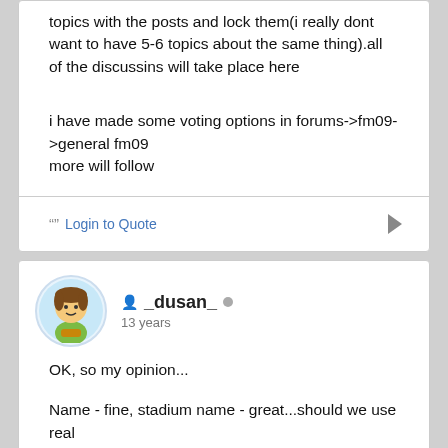topics with the posts and lock them(i really dont want to have 5-6 topics about the same thing).all of the discussins will take place here
i have made some voting options in forums->fm09->general fm09
more will follow
"" Login to Quote
_dusan_
13 years
OK, so my opinion...
Name - fine, stadium name - great...should we use real